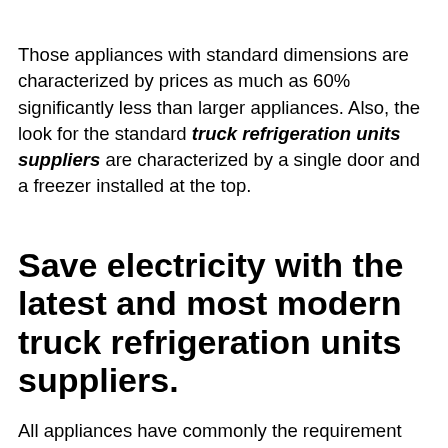Those appliances with standard dimensions are characterized by prices as much as 60% significantly less than larger appliances. Also, the look for the standard truck refrigeration units suppliers are characterized by a single door and a freezer installed at the top.
Save electricity with the latest and most modern truck refrigeration units suppliers.
All appliances have commonly the requirement